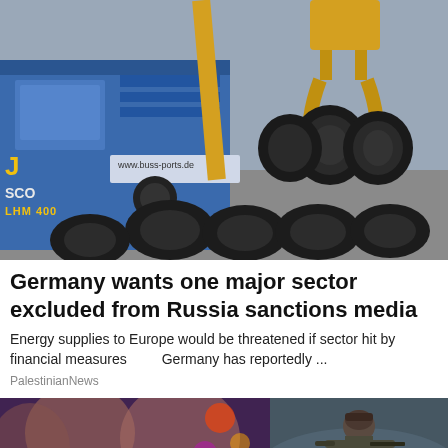[Figure (photo): Industrial crane with yellow grapple lifting large black steel pipeline sections at a port facility. Blue crane labeled 'SCO' and 'LHM 400' with website www.buss-ports.de visible. Large pipe sections on the ground.]
Germany wants one major sector excluded from Russia sanctions media
Energy supplies to Europe would be threatened if sector hit by financial measures          Germany has reportedly ...
PalestinianNews
[Figure (photo): Bottom left: colorful graphic with text 'BHANGRA ROCK' overlay on faces]
[Figure (photo): Bottom right: soldier or armed person in tactical gear in dark/misty environment]